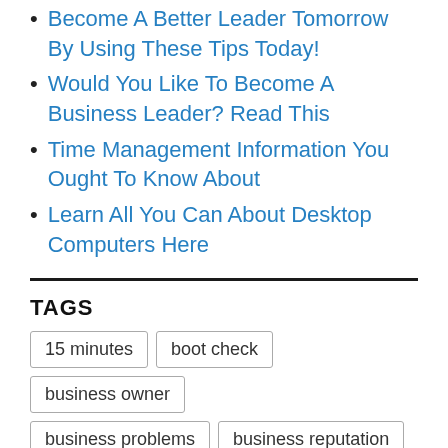Become A Better Leader Tomorrow By Using These Tips Today!
Would You Like To Become A Business Leader? Read This
Time Management Information You Ought To Know About
Learn All You Can About Desktop Computers Here
TAGS
15 minutes  boot check  business owner  business problems  business reputation  [partially visible tag]